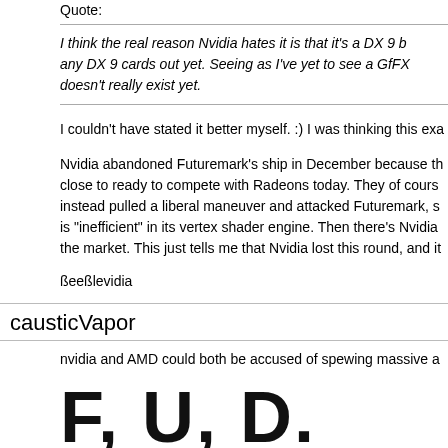Quote:
I think the real reason Nvidia hates it is that it's a DX 9 b any DX 9 cards out yet. Seeing as I've yet to see a GfFX doesn't really exist yet.
I couldn't have stated it better myself. :) I was thinking this exa
Nvidia abandoned Futuremark's ship in December because th close to ready to compete with Radeons today. They of cours instead pulled a liberal maneuver and attacked Futuremark, s is "inefficient" in its vertex shader engine. Then there's Nvidia the market. This just tells me that Nvidia lost this round, and it
ßeeßlevidia
causticVapor
nvidia and AMD could both be accused of spewing massive a
F, U, D.